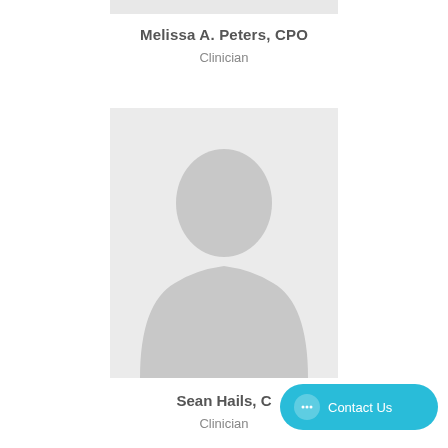[Figure (photo): Top portion of a profile photo placeholder (clipped at top of page)]
Melissa A. Peters, CPO
Clinician
[Figure (photo): Generic silhouette placeholder photo for a clinician profile]
Sean Hails, C...
Clinician
[Figure (other): Contact Us chat button in cyan/teal color at bottom right]